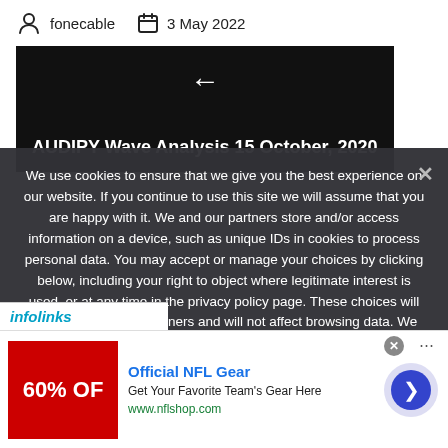fonecable   3 May 2022
[Figure (screenshot): Black background image with white left arrow and title text 'AUDIPY Wave Analysis 15 October, 2020']
We use cookies to ensure that we give you the best experience on our website. If you continue to use this site we will assume that you are happy with it. We and our partners store and/or access information on a device, such as unique IDs in cookies to process personal data. You may accept or manage your choices by clicking below, including your right to object where legitimate interest is used, or at any time in the privacy policy page. These choices will be signalled to our partners and will not affect browsing data. We and our partners process data to provide: Use precise geolocation data. Actively scan device characteristics for identification. Store and/or
[Figure (screenshot): Infolinks advertisement bar at bottom left]
[Figure (screenshot): Official NFL Gear advertisement banner: '60% OFF' red image, title 'Official NFL Gear', description 'Get Your Favorite Team's Gear Here', URL 'www.nflshop.com', with blue arrow button]